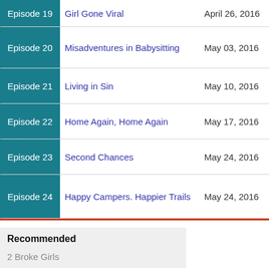| Episode | Title | Date |
| --- | --- | --- |
| Episode 19 | Girl Gone Viral | April 26, 2016 |
| Episode 20 | Misadventures in Babysitting | May 03, 2016 |
| Episode 21 | Living in Sin | May 10, 2016 |
| Episode 22 | Home Again, Home Again | May 17, 2016 |
| Episode 23 | Second Chances | May 24, 2016 |
| Episode 24 | Happy Campers. Happier Trails | May 24, 2016 |
Recommended
2 Broke Girls